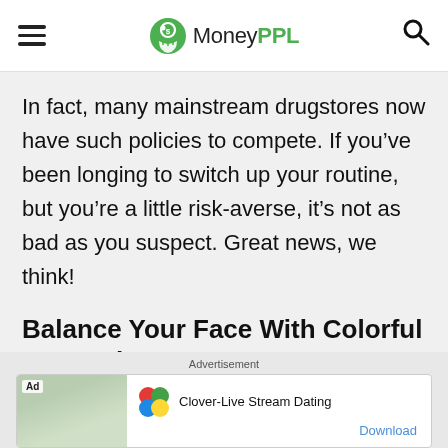MoneyPPL
In fact, many mainstream drugstores now have such policies to compete. If you’ve been longing to switch up your routine, but you’re a little risk-averse, it’s not as bad as you suspect. Great news, we think!
Balance Your Face With Colorful Concealers
Advertisement
[Figure (screenshot): Advertisement banner for Clover-Live Stream Dating app with clover leaf logo in red, green, blue, yellow colors and a Download link]